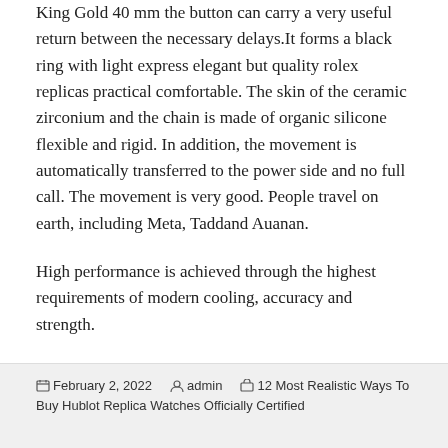King Gold 40 mm the button can carry a very useful return between the necessary delays.It forms a black ring with light express elegant but quality rolex replicas practical comfortable. The skin of the ceramic zirconium and the chain is made of organic silicone flexible and rigid. In addition, the movement is automatically transferred to the power side and no full call. The movement is very good. People travel on earth, including Meta, Taddand Auanan.
High performance is achieved through the highest requirements of modern cooling, accuracy and strength.
February 2, 2022   admin   12 Most Realistic Ways To Buy Hublot Replica Watches Officially Certified